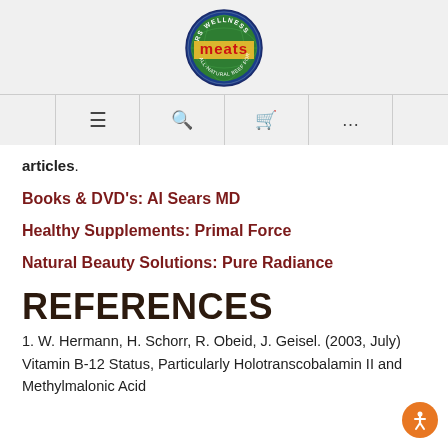[Figure (logo): RS Wellness Meats circular logo with globe and red meats text, blue border]
≡  🔍  🛒  ...
articles.
Books & DVD's: Al Sears MD
Healthy Supplements: Primal Force
Natural Beauty Solutions: Pure Radiance
REFERENCES
1. W. Hermann, H. Schorr, R. Obeid, J. Geisel. (2003, July) Vitamin B-12 Status, Particularly Holotranscobalamin II and Methylmalonic Acid